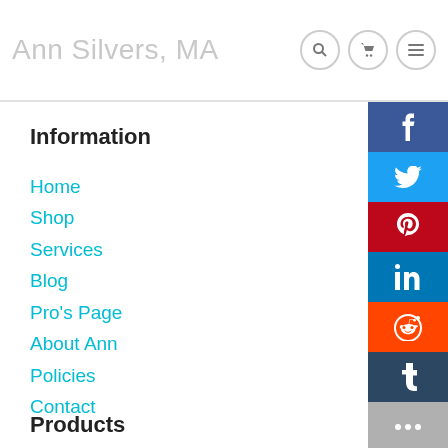Ann Silvers, MA
Information
Home
Shop
Services
Blog
Pro's Page
About Ann
Policies
Contact
Products
[Figure (infographic): Social media icon buttons on right side: Facebook (blue), Twitter (cyan), Pinterest (red), LinkedIn (blue), Reddit (orange), Tumblr (dark blue), More/ellipsis (gray)]